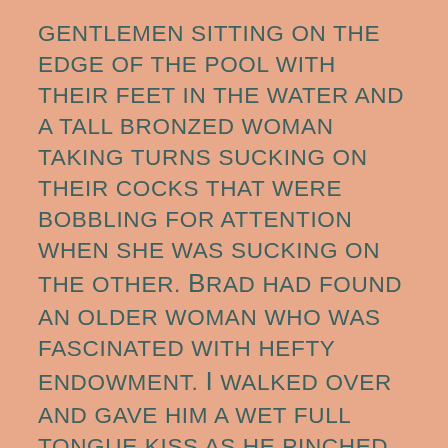GENTLEMEN SITTING ON THE EDGE OF THE POOL WITH THEIR FEET IN THE WATER AND A TALL BRONZED WOMAN TAKING TURNS SUCKING ON THEIR COCKS THAT WERE BOBBLING FOR ATTENTION WHEN SHE WAS SUCKING ON THE OTHER. Brad HAD FOUND AN OLDER WOMAN WHO WAS FASCINATED WITH HEFTY ENDOWMENT. I WALKED OVER AND GAVE HIM A WET FULL TONGUE KISS AS HE PINCHED MY ALREADY HARD NIPPLES. His INVITE TO JOIN HIM AND HIS NEW FRIEND WAS TEMPTING, BUT I